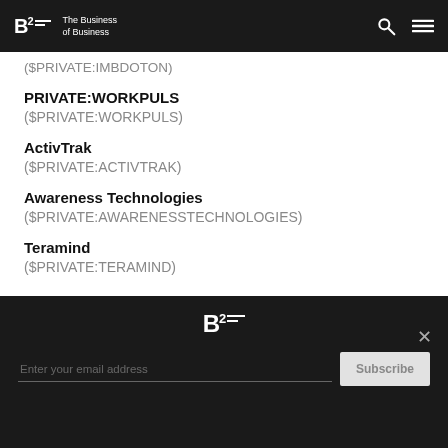B2 The Business of Business
($PRIVATE:IMBDOTON)
PRIVATE:WORKPULS
($PRIVATE:WORKPULS)
ActivTrak
($PRIVATE:ACTIVTRAK)
Awareness Technologies
($PRIVATE:AWARENESSTECHNOLOGIES)
Teramind
($PRIVATE:TERAMIND)
B2 — Enter your email address — Subscribe